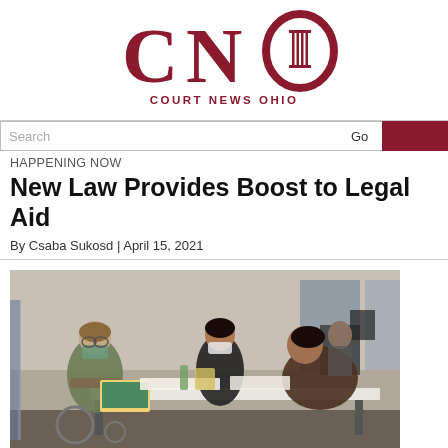[Figure (logo): Court News Ohio (CNO) logo in dark red/maroon. Large 'CNO' letters with a classical column inside the O, and 'COURT NEWS OHIO' text below.]
Search
HAPPENING NOW
New Law Provides Boost to Legal Aid
By Csaba Sukosd | April 15, 2021
[Figure (photo): Photo of people wearing masks sitting at white tables in an office or event space, appearing to work on legal aid paperwork. One person in a green jacket works at a laptop on the left, two people in the center and right lean over documents. A person stands in the background near a desk.]